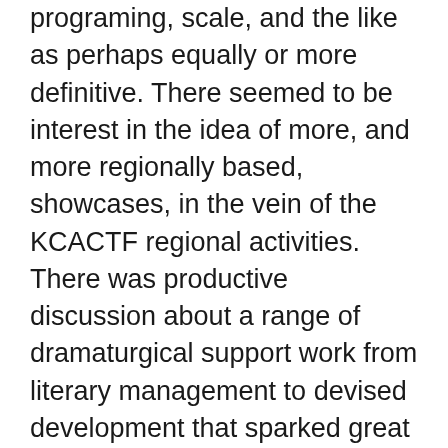programing, scale, and the like as perhaps equally or more definitive. There seemed to be interest in the idea of more, and more regionally based, showcases, in the vein of the KCACTF regional activities. There was productive discussion about a range of dramaturgical support work from literary management to devised development that sparked great questions if no solid solutions (hey, we're dramaturgs, it's what we do). And I hope our group facilitator Jenni Werner would agree that there were some productive thoughts about other things we could want or use from NNPN, whether that's seed money or leveraging even more as a connector. For sure, nobody was